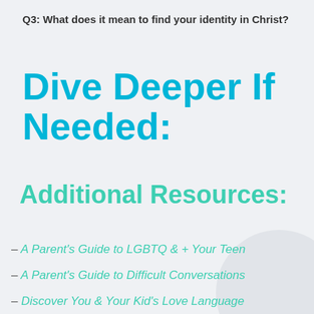Q3: What does it mean to find your identity in Christ?
Dive Deeper If Needed:
Additional Resources:
– A Parent's Guide to LGBTQ & + Your Teen
– A Parent's Guide to Difficult Conversations
– Discover You & Your Kid's Love Language